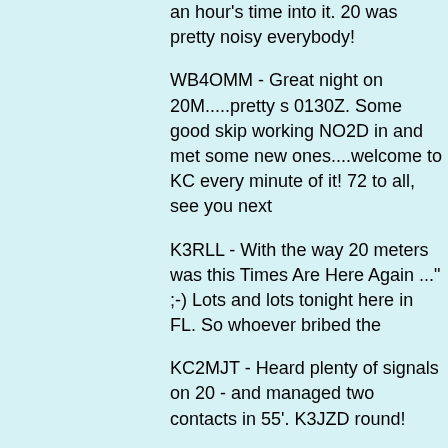an hour's time into it. 20 was pretty noisy everybody!
WB4OMM - Great night on 20M.....pretty s 0130Z. Some good skip working NO2D in and met some new ones....welcome to KC every minute of it! 72 to all, see you next
K3RLL - With the way 20 meters was this Times Are Here Again ..." ;-) Lots and lots tonight here in FL. So whoever bribed the
KC2MJT - Heard plenty of signals on 20 - and managed two contacts in 55'. K3JZD round!
W4HH - Lots of strong sigs on 40, cud wo
K4KBL - Really different band conditions t
AB9BZ - Thanks for the sprint, bands wer
NO2D - Stuck with 20 meters. 40 meters w the sprints possible. I really enjoy them ev
KJ4R - Lots of QRN from storm in the are